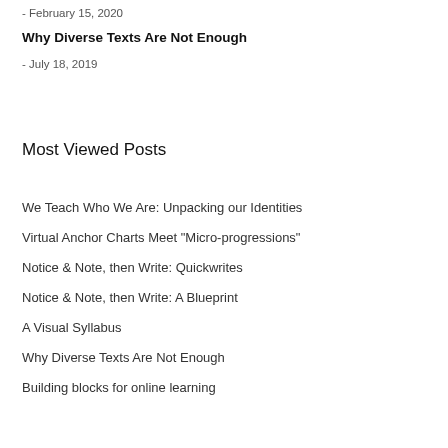- February 15, 2020
Why Diverse Texts Are Not Enough
- July 18, 2019
Most Viewed Posts
We Teach Who We Are: Unpacking our Identities
Virtual Anchor Charts Meet "Micro-progressions"
Notice & Note, then Write: Quickwrites
Notice & Note, then Write: A Blueprint
A Visual Syllabus
Why Diverse Texts Are Not Enough
Building blocks for online learning